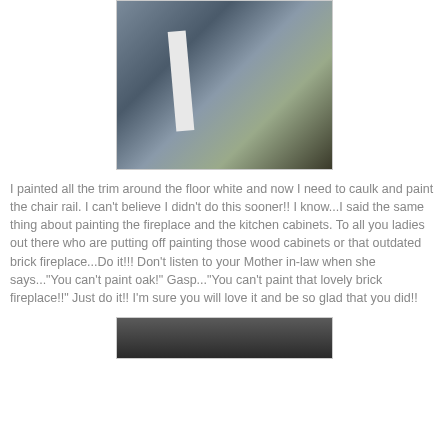[Figure (photo): A close-up photo of white painted trim/chair rail along a wall, with gray and beige tones visible]
I painted all the trim around the floor white and now I need to caulk and paint the chair rail. I can't believe I didn't do this sooner!! I know...I said the same thing about painting the fireplace and the kitchen cabinets. To all you ladies out there who are putting off painting those wood cabinets or that outdated brick fireplace...Do it!!! Don't listen to your Mother in-law when she says..."You can't paint oak!" Gasp..."You can't paint that lovely brick fireplace!!" Just do it!! I'm sure you will love it and be so glad that you did!!
[Figure (photo): Bottom partial photo, dark tones, appears to be another home improvement photo]